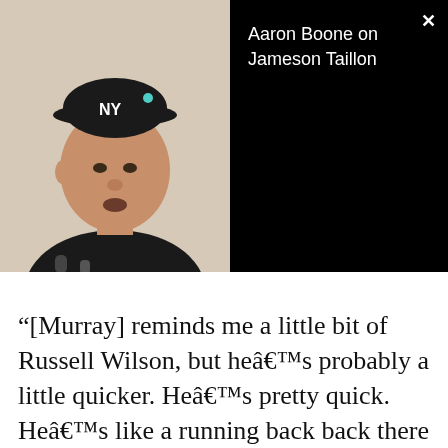[Figure (screenshot): Video thumbnail showing a man wearing a New York Yankees cap and dark shirt speaking, with black background and white text 'Aaron Boone on Jameson Taillon', and an X close button in the top right corner.]
“[Murray] reminds me a little bit of Russell Wilson, but he’s probably a little quicker. He’s pretty quick. He’s like a running back back there playing quarterback, so you’re going to have to keep an eye on him and you’re going to have to